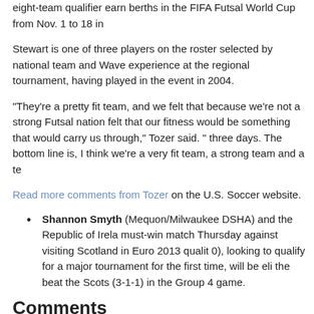eight-team qualifier earn berths in the FIFA Futsal World Cup from Nov. 1 to 18 in
Stewart is one of three players on the roster selected by national team and Wave experience at the regional tournament, having played in the event in 2004.
"They're a pretty fit team, and we felt that because we're not a strong Futsal nation felt that our fitness would be something that would carry us through," Tozer said. " three days. The bottom line is, I think we're a very fit team, a strong team and a te
Read more comments from Tozer on the U.S. Soccer website.
Shannon Smyth (Mequon/Milwaukee DSHA) and the Republic of Irela must-win match Thursday against visiting Scotland in Euro 2013 qualit 0), looking to qualify for a major tournament for the first time, will be eli the beat the Scots (3-1-1) in the Group 4 game.
Comments
Please login to comment.

Let's get the conversation started! Post your comment.
Tag(s): U.S. National Team